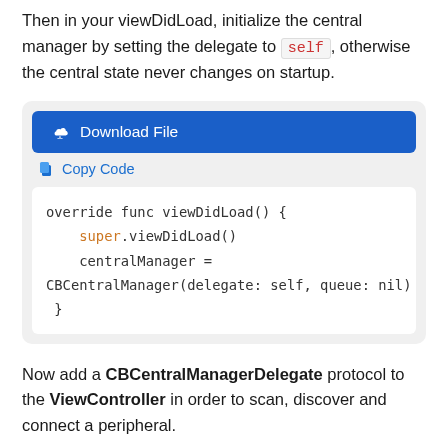Then in your viewDidLoad, initialize the central manager by setting the delegate to self, otherwise the central state never changes on startup.
[Figure (screenshot): Code box with Download File button, Copy Code link, and Swift code snippet showing override func viewDidLoad with CBCentralManager initialization]
Now add a CBCentralManagerDelegate protocol to the ViewController in order to scan, discover and connect a peripheral.